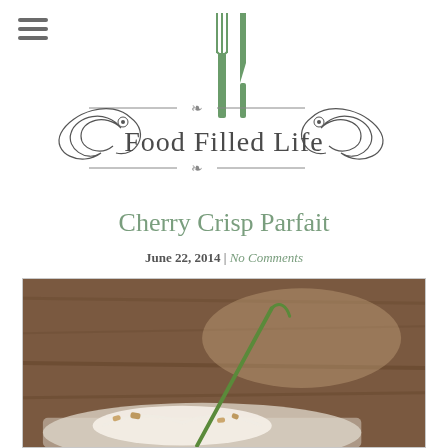[Figure (logo): Food Filled Life blog logo with fork and knife icon above decorative scrollwork and the text 'Food Filled Life']
Cherry Crisp Parfait
June 22, 2014 | No Comments
[Figure (photo): Close-up food photograph of a Cherry Crisp Parfait in a glass dish with whipped cream and a green cherry stem, on a dark wooden background]